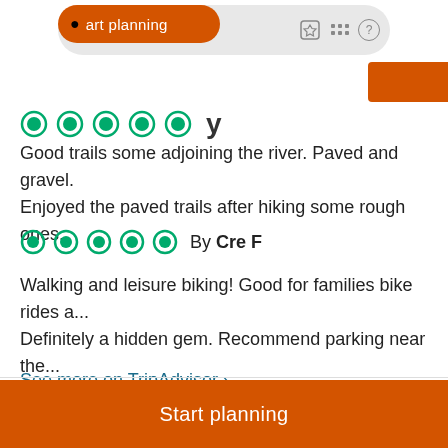[Figure (screenshot): Navigation bar with orange 'Start planning' pill button and icons for saves, activities, and help]
[Figure (other): Five green TripAdvisor circle rating bubbles (partial, top left)]
Good trails some adjoining the river. Paved and gravel. Enjoyed the paved trails after hiking some rough ones.
[Figure (other): Five green TripAdvisor circle rating bubbles, By Cre F]
Walking and leisure biking! Good for families bike rides a... Definitely a hidden gem. Recommend parking near the... Long, endless paved trails...  more »
See more on TripAdvisor ›
Start planning